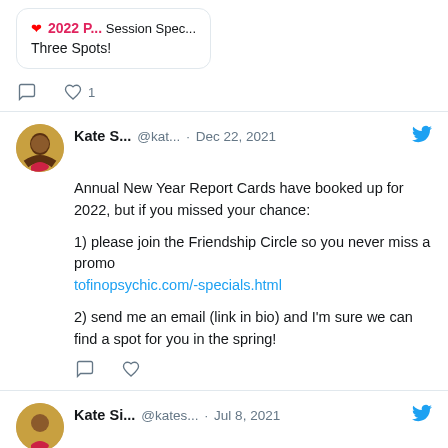Three Spots!
1 like
Kate S... @kat... · Dec 22, 2021
Annual New Year Report Cards have booked up for 2022, but if you missed your chance:

1) please join the Friendship Circle so you never miss a promo tofinopsychic.com/-specials.html

2) send me an email (link in bio) and I'm sure we can find a spot for you in the spring!
Kate Si... @kates... · Jul 8, 2021
Friends, I am rarely on social media these days. I amt still doing sessions